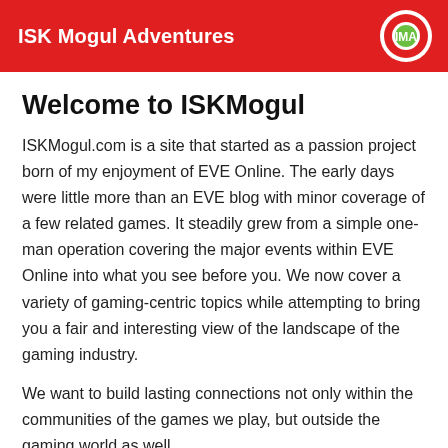ISK Mogul Adventures
Welcome to ISKMogul
ISKMogul.com is a site that started as a passion project born of my enjoyment of EVE Online. The early days were little more than an EVE blog with minor coverage of a few related games. It steadily grew from a simple one-man operation covering the major events within EVE Online into what you see before you. We now cover a variety of gaming-centric topics while attempting to bring you a fair and interesting view of the landscape of the gaming industry.
We want to build lasting connections not only within the communities of the games we play, but outside the gaming world as well.